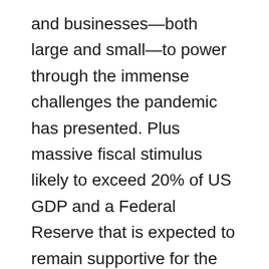and businesses—both large and small—to power through the immense challenges the pandemic has presented. Plus massive fiscal stimulus likely to exceed 20% of US GDP and a Federal Reserve that is expected to remain supportive for the foreseeable future further solidify the bull case.
But the battle against COVID-19 isn't over unfortunately. New, more infectious variants of COVID-19 are out there. The vaccine rollout will take time, and there will be holdouts